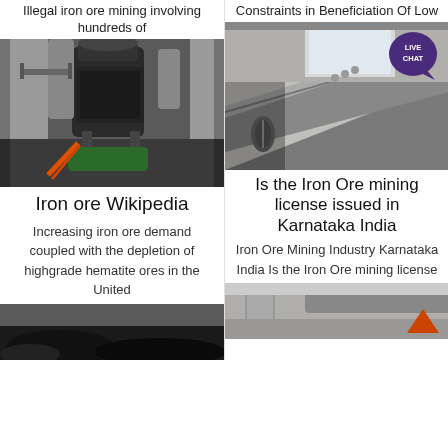Illegal iron ore mining involving hundreds of
Constraints in Beneficiation Of Low
[Figure (photo): Industrial mining machine / vertical mill equipment inside a factory building]
[Figure (photo): Industrial conveyor belt equipment, close-up view]
Iron ore Wikipedia
Is the Iron Ore mining license issued in Karnataka India
Increasing iron ore demand coupled with the depletion of highgrade hematite ores in the United
Iron Ore Mining Industry Karnataka India Is the Iron Ore mining license
[Figure (photo): Mining site or dark mineral pile, bottom left thumbnail]
[Figure (photo): Industrial pipes or machinery, bottom right thumbnail]